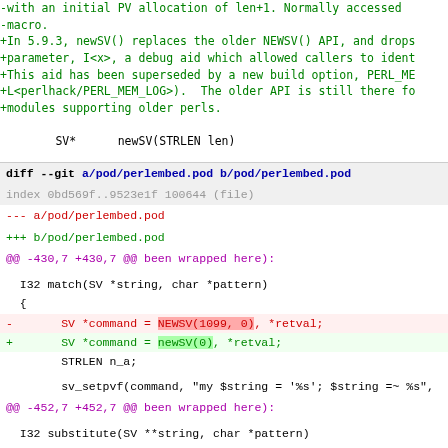-with an initial PV allocation of len+1. Normally accessed -macro.
+In 5.9.3, newSV() replaces the older NEWSV() API, and drops +parameter, I<x>, a debug aid which allowed callers to ident +This aid has been superseded by a new build option, PERL_ME +L<perlhack/PERL_MEM_LOG>).  The older API is still there fo +modules supporting older perls.
SV*      newSV(STRLEN len)
diff --git a/pod/perlembed.pod b/pod/perlembed.pod
index 0bd569f..9523e1f 100644 (file)
--- a/pod/perlembed.pod
+++ b/pod/perlembed.pod
@@ -430,7 +430,7 @@ been wrapped here):

   I32 match(SV *string, char *pattern)
   {
-       SV *command = NEWSV(1099, 0), *retval;
+       SV *command = newSV(0), *retval;
        STRLEN n_a;

        sv_setpvf(command, "my $string = '%s'; $string =~ %s",
@@ -452,7 +452,7 @@ been wrapped here):

   I32 substitute(SV **string, char *pattern)
   {
-       SV *command = NEWSV(1099, 0), *retval;
+       SV *command = newSV(0), *retval;
        STRLEN n_a;